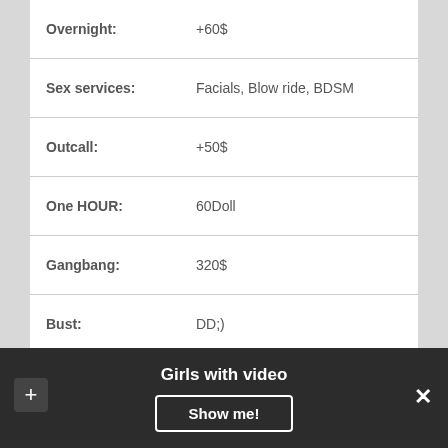| Label | Value |
| --- | --- |
| Overnight: | +60$ |
| Sex services: | Facials, Blow ride, BDSM |
| Outcall: | +50$ |
| One HOUR: | 60Doll |
| Gangbang: | 320$ |
| Bust: | DD;) |
|  | VIDEO |
I am typical italian beauty: classy, elegant, vibrant, discreet, articulate, smart, witty, and so many other things.
Girls with video
Show me!